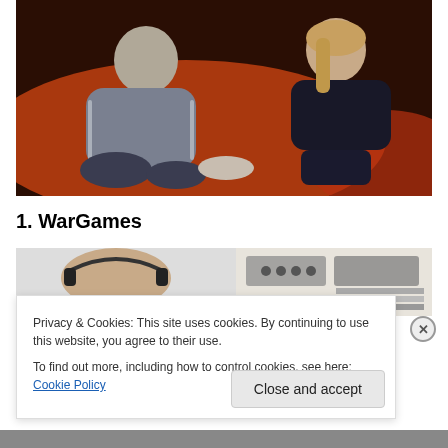[Figure (photo): Two people (a young man in gray tracksuit and a woman in dark clothing) lounging on orange/red cushions or floor, warm dim lighting]
1. WarGames
[Figure (photo): Partial photo showing a person with headphones near audio/recording equipment and stacks of books/records]
Privacy & Cookies: This site uses cookies. By continuing to use this website, you agree to their use.
To find out more, including how to control cookies, see here: Cookie Policy
Close and accept